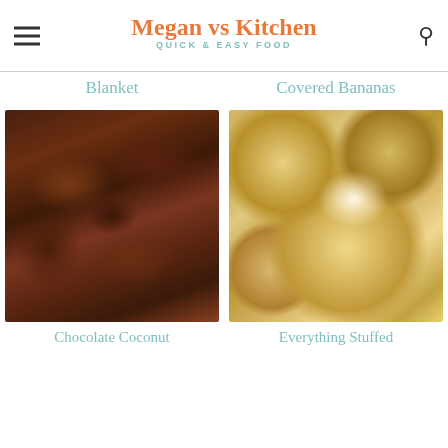Megan vs Kitchen — QUICK & EASY FOOD
Blanket
Covered Bananas
[Figure (photo): Chocolate coconut energy balls/bars cut into pieces, dark brown texture with oat/nut bits, piled on white background]
[Figure (photo): Everything stuffed bread rolls/buns coated with everything bagel seasoning, one broken open showing cream cheese filling, stacked on dark surface]
Chocolate Coconut
Everything Stuffed